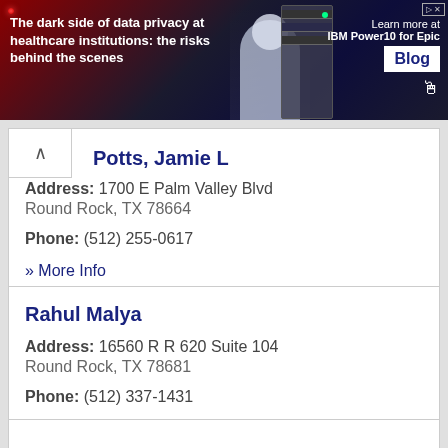[Figure (other): Advertisement banner: 'The dark side of data privacy at healthcare institutions: the risks behind the scenes' with IBM Power10 for Epic Blog promotion]
Potts, Jamie L
Address: 1700 E Palm Valley Blvd
Round Rock, TX 78664
Phone: (512) 255-0617
» More Info
Rahul Malya
Address: 16560 R R 620 Suite 104
Round Rock, TX 78681
Phone: (512) 337-1431
» More Info